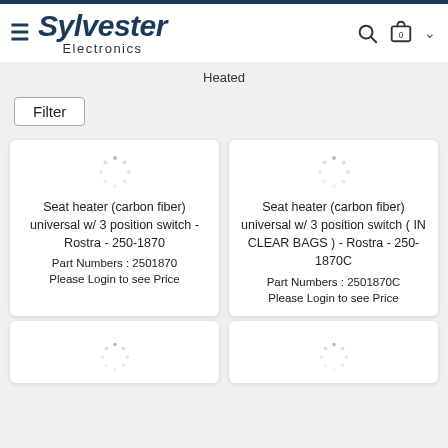Sylvester Electronics
Heated
Filter
Seat heater (carbon fiber) universal w/ 3 position switch - Rostra - 250-1870
Part Numbers : 2501870
Please Login to see Price
Seat heater (carbon fiber) universal w/ 3 position switch ( IN CLEAR BAGS ) - Rostra - 250-1870C
Part Numbers : 2501870C
Please Login to see Price